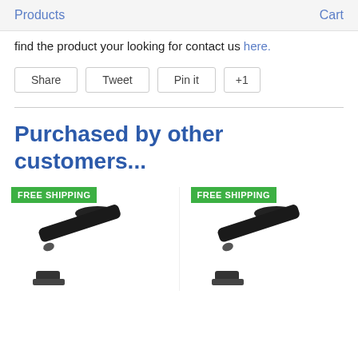Products   Cart
find the product your looking for contact us here.
[Figure (other): Social sharing buttons: Share, Tweet, Pin it, +1]
Purchased by other customers...
[Figure (other): Two product images with FREE SHIPPING badges showing black mounting arm hardware items]